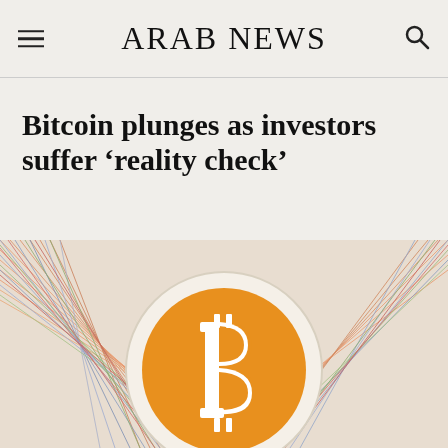ARAB NEWS
Bitcoin plunges as investors suffer ‘reality check’
[Figure (photo): Bitcoin coin logo — orange circle with white Bitcoin symbol (stylized B with two vertical strokes), set against a decorative geometric multi-colored line pattern background.]